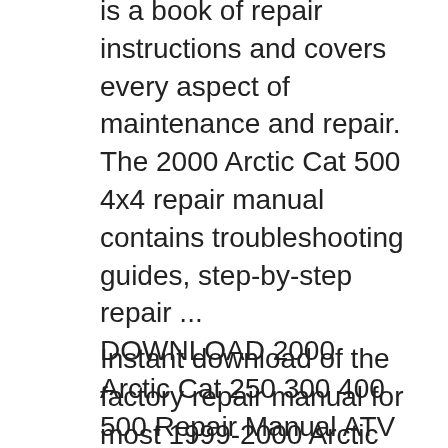is a book of repair instructions and covers every aspect of maintenance and repair. The 2000 Arctic Cat 500 4x4 repair manual contains troubleshooting guides, step-by-step repair ... DOWNLOAD 2000 Arctic Cat 250 300 400 500 Repair Manual ATV Download a repair manual for 2000 Arctic Cat 250, 300, 400, 500 ATV instantly! This download repair manual is a digitally delivered book of repair instructions.
Instant download of the factory repair manual for most 1999-2000 Arctic Cat snowmobiles. See below for models covered. Covers complete tear down and rebuild, pictures and part diagrams,